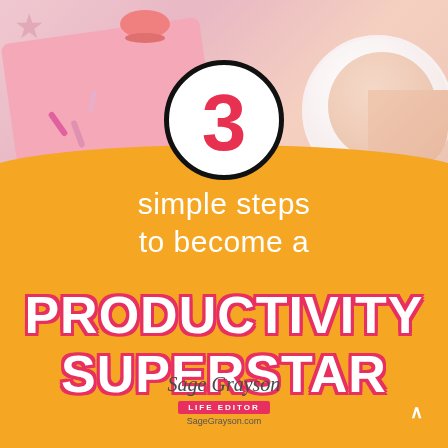[Figure (infographic): Promotional infographic with pink background showing coffee cup, macarons, and paperclips on top half. Orange semicircle on bottom half with large number 3 in a white circle with black border. Text reads '3 simple steps to become a PRODUCTIVITY SUPERSTAR' with Sage Grayson Life Editor logo at bottom.]
3 simple steps to become a PRODUCTIVITY SUPERSTAR
Sage Grayson Life Editor SageGrayson.com